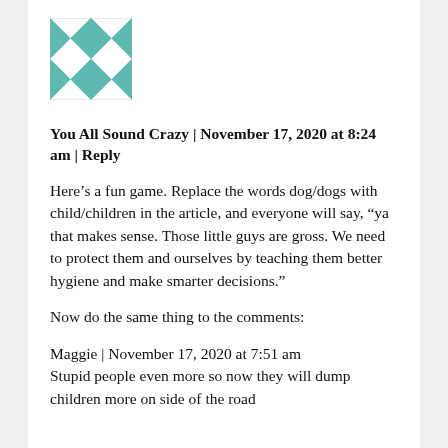[Figure (illustration): Teal/green quilted geometric square avatar image with star-like pattern]
You All Sound Crazy | November 17, 2020 at 8:24 am | Reply
Here’s a fun game. Replace the words dog/dogs with child/children in the article, and everyone will say, “ya that makes sense. Those little guys are gross. We need to protect them and ourselves by teaching them better hygiene and make smarter decisions.”
Now do the same thing to the comments:
Maggie | November 17, 2020 at 7:51 am
Stupid people even more so now they will dump children more on side of the road